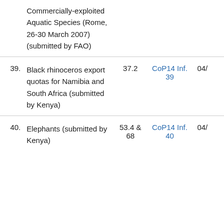|  | Item | Agenda | Ref | Doc |
| --- | --- | --- | --- | --- |
|  | Commercially-exploited Aquatic Species (Rome, 26-30 March 2007) (submitted by FAO) |  |  |  |
| 39. | Black rhinoceros export quotas for Namibia and South Africa (submitted by Kenya) | 37.2 | CoP14 Inf. 39 | 04/ |
| 40. | Elephants (submitted by Kenya) | 53.4 & 68 | CoP14 Inf. 40 | 04/ |